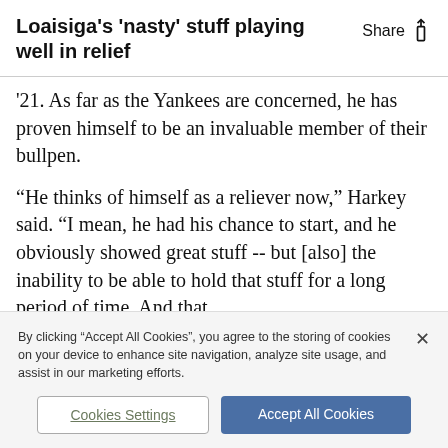Loaisiga's 'nasty' stuff playing well in relief
'21. As far as the Yankees are concerned, he has proven himself to be an invaluable member of their bullpen.
“He thinks of himself as a reliever now,” Harkey said. “I mean, he had his chance to start, and he obviously showed great stuff -- but [also] the inability to be able to hold that stuff for a long period of time. And that
By clicking “Accept All Cookies”, you agree to the storing of cookies on your device to enhance site navigation, analyze site usage, and assist in our marketing efforts.